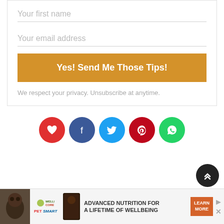Your first name
Your email address
Yes! Send Me Those Tips!
We respect your privacy. Unsubscribe at anytime.
[Figure (infographic): Social share icons: heart (red), Facebook (dark blue), Twitter (light blue), Pinterest (red), WhatsApp (green)]
[Figure (infographic): Scroll to top button — dark circular button with double chevron up arrow]
[Figure (infographic): Advertisement banner: dog photo, Wellness Core / PetSmart logo, text 'Advanced Nutrition For A Lifetime Of Wellbeing', orange Learn More button, ad controls]